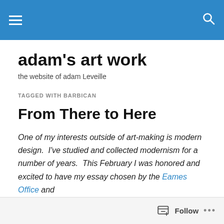Navigation header with hamburger menu and search icon
adam's art work
the website of adam Leveille
TAGGED WITH BARBICAN
From There to Here
One of my interests outside of art-making is modern design.  I've studied and collected modernism for a number of years.  This February I was honored and excited to have my essay chosen by the Eames Office and
Follow ...